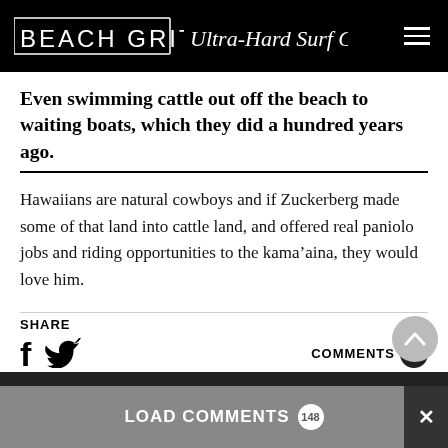BEACH GRIT Ultra-Hard Surf Candy
Even swimming cattle out off the beach to waiting boats, which they did a hundred years ago.
Hawaiians are natural cowboys and if Zuckerberg made some of that land into cattle land, and offered real paniolo jobs and riding opportunities to the kama’aina, they would love him.